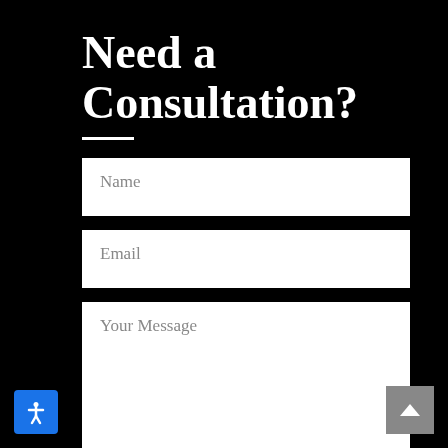Need a Consultation?
Name
Email
Your Message